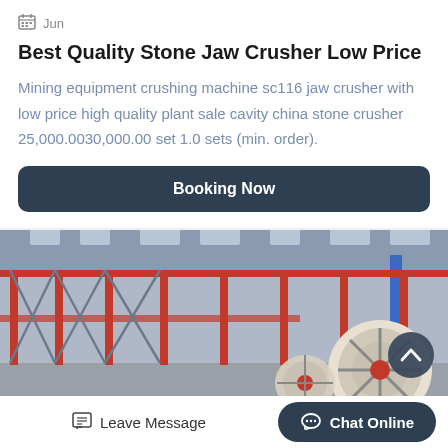Jun
Best Quality Stone Jaw Crusher Low Price
Mining equipment crushing machine sc116 jaw crusher with low price high quality plant sale cavity china stone crusher 25,000.0030,000.00 set 1.0 sets (min. order).
Booking Now
[Figure (photo): Industrial factory interior showing jaw crusher machinery with red structural beams and large mechanical components in a large warehouse.]
Leave Message
Chat Online